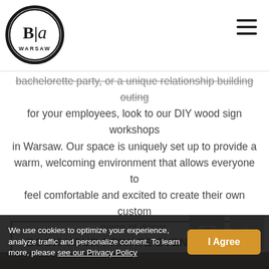[Figure (logo): B|a Warsaw circular logo with black circle border, white interior, stylized B|a letters, 'WARSAW' text at bottom]
bachelorette party, or a unique relationship building outing for your employees, look to our DIY wood sign workshops in Warsaw. Our space is uniquely set up to provide a warm, welcoming environment that allows everyone to feel comfortable and excited to create their own custom piece of décor.
BOOK YOUR PRIVATE EVENT TODAY!
We use cookies to optimize your experience, analyze traffic and personalize content. To learn more, please see our Privacy Policy
I Agree